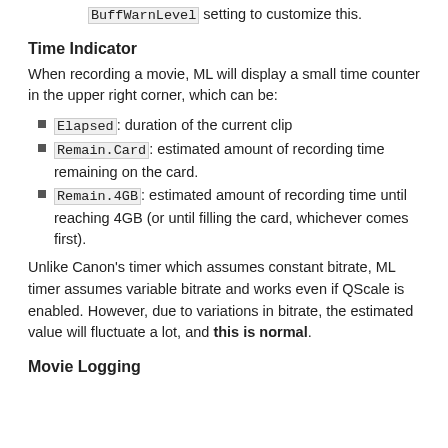BuffWarnLevel setting to customize this.
Time Indicator
When recording a movie, ML will display a small time counter in the upper right corner, which can be:
Elapsed: duration of the current clip
Remain.Card: estimated amount of recording time remaining on the card.
Remain.4GB: estimated amount of recording time until reaching 4GB (or until filling the card, whichever comes first).
Unlike Canon's timer which assumes constant bitrate, ML timer assumes variable bitrate and works even if QScale is enabled. However, due to variations in bitrate, the estimated value will fluctuate a lot, and this is normal.
Movie Logging